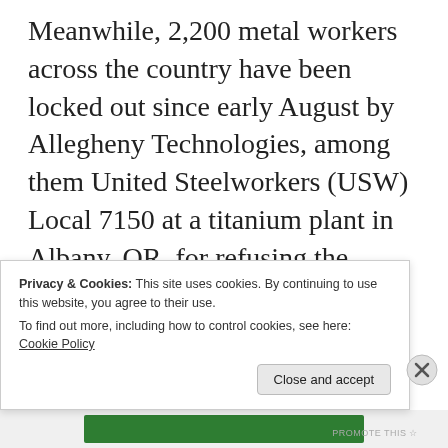Meanwhile, 2,200 metal workers across the country have been locked out since early August by Allegheny Technologies, among them United Steelworkers (USW) Local 7150 at a titanium plant in Albany, OR, for refusing the company’s “offer” that slashed health insurance benefits. There, too, management is using scabs.
Similar fights over essential health coverage are posed from coast to coast. Obamacare is one more weapon in the arsenal of the bosses’
Privacy & Cookies: This site uses cookies. By continuing to use this website, you agree to their use.
To find out more, including how to control cookies, see here: Cookie Policy